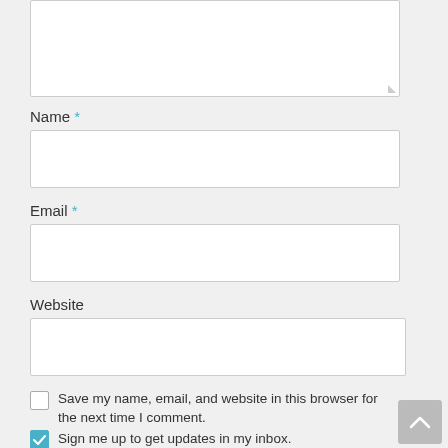[Figure (screenshot): Partial textarea input field at top of page (cropped from above)]
Name *
[Figure (screenshot): Empty text input field for Name]
Email *
[Figure (screenshot): Empty text input field for Email]
Website
[Figure (screenshot): Empty text input field for Website]
Save my name, email, and website in this browser for the next time I comment.
Sign me up to get updates in my inbox.